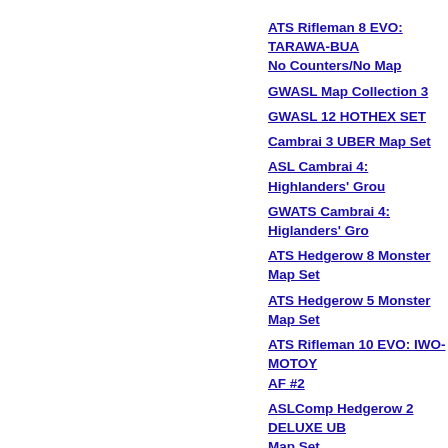ATS Rifleman 8 EVO: TARAWA-BUA No Counters/No Map
GWASL Map Collection 3
GWASL 12 HOTHEX SET
Cambrai 3 UBER Map Set
ASL Cambrai 4: Highlanders' Grou
GWATS Cambrai 4: Higlanders' Gro
ATS Hedgerow 8 Monster Map Set
ATS Hedgerow 5 Monster Map Set
ATS Rifleman 10 EVO: IWO-MOTOY AF #2
ASLComp Hedgerow 2 DELUXE UB Map Set
ASLComp Hedgerow 5 DELUXE UB Map Set
ASLComp Hedgerow 8 DELUXE UB Map Set
ASLComp Hedgerow 11 DELUXE U Map Set
ASLComp Hedgerow 14 DELUXE U Map Set